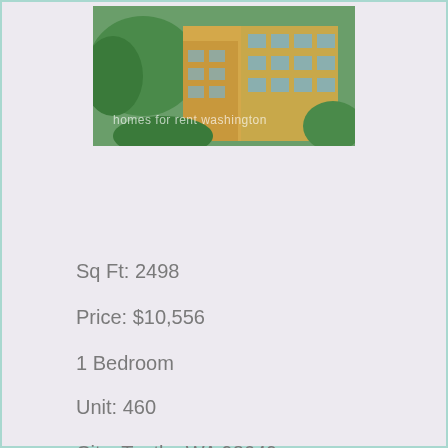[Figure (photo): Exterior photo of multi-story apartment or rental homes building with balconies, surrounded by trees. Watermark text reads 'homes for rent washington'.]
Sq Ft: 2498
Price: $10,556
1 Bedroom
Unit: 460
City: Toutle, WA 98649
Phone: (360) 815-1031